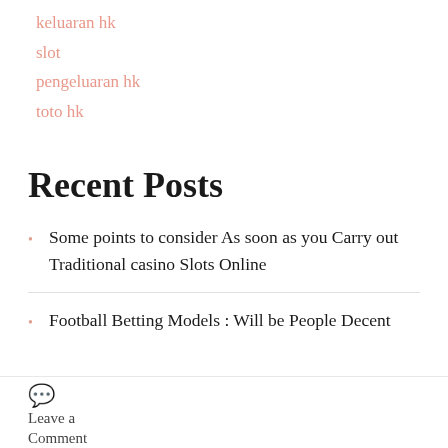keluaran hk
slot
pengeluaran hk
toto hk
Recent Posts
Some points to consider As soon as you Carry out Traditional casino Slots Online
Football Betting Models : Will be People Decent
Leave a Comment